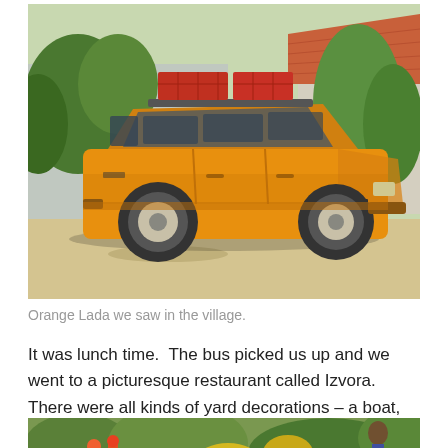[Figure (photo): Orange Lada Soviet-era sedan parked on a dirt/gravel road in a village setting, with red crates on the roof rack, greenery and a building with terracotta roof tiles in the background]
Orange Lada we saw in the village.
It was lunch time.  The bus picked us up and we went to a picturesque restaurant called Izvora. There were all kinds of yard decorations – a boat, wishing well, a few chickens, old wagon with flowers.
[Figure (photo): Partial view of a restaurant garden/yard area showing outdoor decorations and greenery, partially visible at bottom of page]